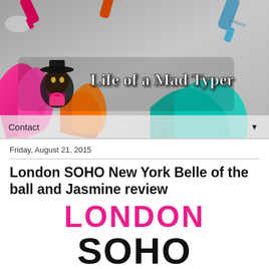[Figure (photo): Blog header banner for 'Life of a Mad Typer' showing colorful nail polish bottles and splashes of pink, orange, teal, and blue nail polish on a gray background, with the blog logo text in gothic/blackletter style.]
Contact
Friday, August 21, 2015
London SOHO New York Belle of the ball and Jasmine review
[Figure (logo): London SOHO brand logo with 'LONDON' in pink/magenta bold text and 'SOHO' in large black bold text below it.]